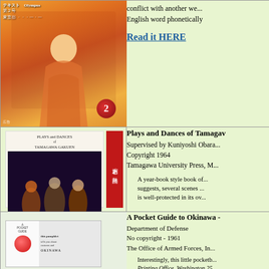[Figure (photo): Book cover showing a woman in colorful Japanese kimono with red circle badge showing number 2]
conflict with another we... English word phonetically
Read it HERE
[Figure (photo): Cover of Plays and Dances of Tamagawa Gakuen book with stage performance photo and red side panel with Japanese characters]
Plays and Dances of Tamagawa... Supervised by Kuniyoshi Obara... Copyright 1964 Tamagawa University Press, M... A year-book style book of... suggests, several scenes ... is well-protected in its ov...
[Figure (photo): Cover of A Pocket Guide to Okinawa booklet with red circle on white background and OKINAWA text]
A Pocket Guide to Okinawa - Department of Defense No copyright - 1961 The Office of Armed Forces, In... Interestingly, this little pocket... Printing Office, Washington 25...